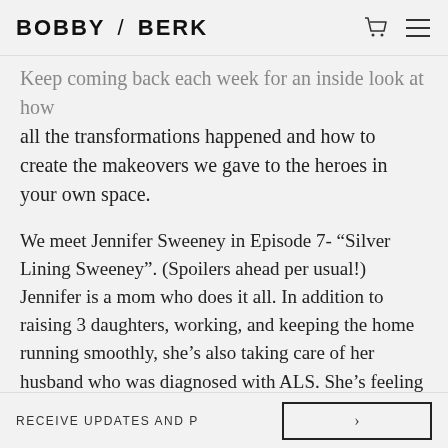BOBBY / BERK
Keep coming back each week for an inside look at how all the transformations happened and how to create the makeovers we gave to the heroes in your own space.
We meet Jennifer Sweeney in Episode 7- “Silver Lining Sweeney”. (Spoilers ahead per usual!) Jennifer is a mom who does it all. In addition to raising 3 daughters, working, and keeping the home running smoothly, she’s also taking care of her husband who was diagnosed with ALS. She’s feeling overwhelmed physically and emotionally and needs to learn to take a breath and enjoy the present - without worrying about the future
RECEIVE UPDATES AND P